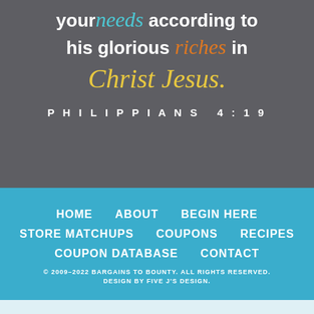your needs according to his glorious riches in Christ Jesus. PHILIPPIANS 4:19
HOME
ABOUT
BEGIN HERE
STORE MATCHUPS
COUPONS
RECIPES
COUPON DATABASE
CONTACT
© 2009–2022 BARGAINS TO BOUNTY. ALL RIGHTS RESERVED. DESIGN BY FIVE J'S DESIGN.
AN ELITE CAFEMEDIA FAMILY & PARENTING PUBLISHER